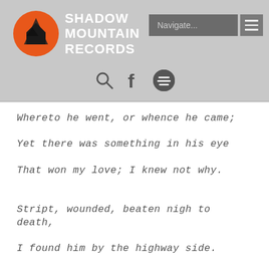[Figure (logo): Shadow Mountain Records logo: orange circle with mountain silhouette icon on the left, bold white text 'SHADOW MOUNTAIN RECORDS' on the right. Navigation bar with 'Navigate...' input and hamburger menu on the top right. Search, Facebook, and Spotify icons below.]
Whereto he went, or whence he came;
Yet there was something in his eye
That won my love; I knew not why.
Stript, wounded, beaten nigh to death,
I found him by the highway side.
I roused his pulse, brought back his breath,